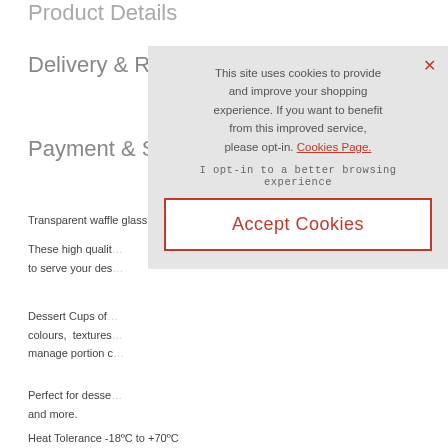Product Details
Delivery & Returns
Payment & Security
Transparent waffle glass
These high quality ... to serve your des...
Dessert Cups of... colours, textures... manage portion c...
Perfect for desse... and more.
Heat Tolerance -18C to +70C
[Figure (screenshot): Cookie consent overlay popup with close X button, message about cookies, Cookies Page link, opt-in text, and Accept Cookies button]